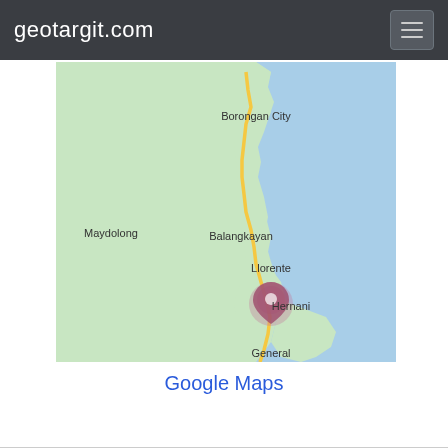geotargit.com
[Figure (map): Google Maps screenshot showing the eastern coast of Eastern Samar, Philippines. Visible labels include Borongan City (top), Maydolong (left), Balangkayan (center), Llorente (center-right), Hernani (lower right), and General (bottom, partially visible). A road (yellow line) runs along the coast. A pink/red map pin marker is placed near Borongan City on the coast. The land is shown in light green and the sea in light blue.]
Google Maps